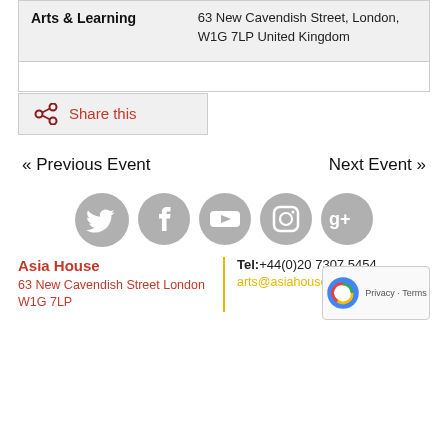63 New Cavendish Street, London, W1G 7LP United Kingdom
Arts & Learning
Share this
« Previous Event
Next Event »
[Figure (infographic): Row of 5 grey social media icons: Twitter, Facebook, YouTube, Instagram, Google+]
Asia House
63 New Cavendish Street London W1G 7LP
Tel:+44(0)20 7307 5454
arts@asiahouse.co.uk